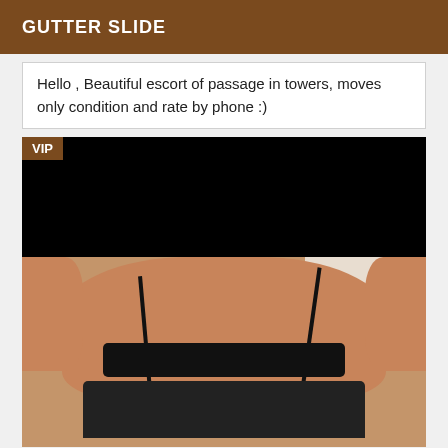GUTTER SLIDE
Hello , Beautiful escort of passage in towers, moves only condition and rate by phone :)
[Figure (photo): Photo of a person wearing black lingerie, with a black bar obscuring the upper portion. VIP badge in top-left corner.]